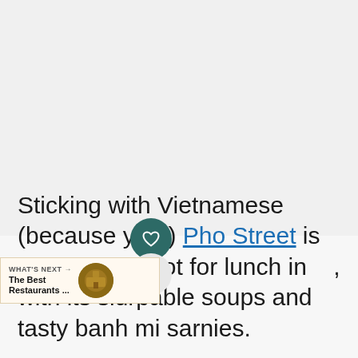[Figure (screenshot): A light gray empty area taking up the top two-thirds of the page, with a dark teal circular heart/save button and a light gray circular share button overlaid on the content area.]
Sticking with Vietnamese (because yum) Pho Street is the perfect spot for lunch in [city], with its slurpable soups and tasty banh mi sarnies.